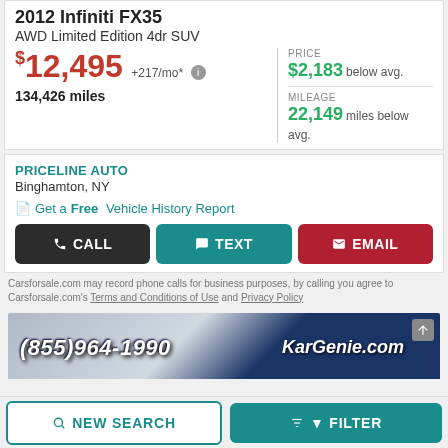2012 Infiniti FX35
AWD Limited Edition 4dr SUV
$12,495 +217/mo*
134,426 miles
PRICE $2,183 below avg.
MILEAGE 22,149 miles below avg.
PRICELINE AUTO
Binghamton, NY
Get a Free Vehicle History Report
CALL
TEXT
EMAIL
Carsforsale.com may record phone calls for business purposes, by calling you agree to Carsforsale.com's Terms and Conditions of Use and Privacy Policy
[Figure (screenshot): Ad banner for KarGenie.com showing phone number (855)964-1990 on a blue gradient background]
NEW SEARCH
FILTER